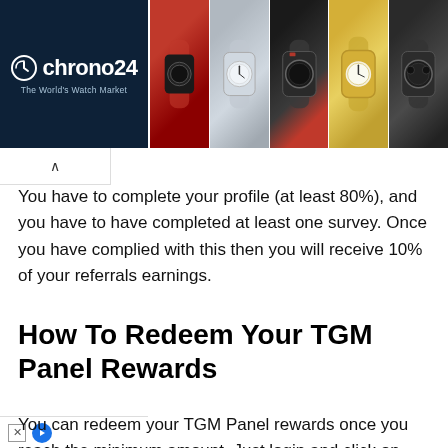[Figure (screenshot): Chrono24 watch marketplace advertisement banner with logo and watch images]
You have to complete your profile (at least 80%), and you have to have completed at least one survey. Once you have complied with this then you will receive 10% of your referrals earnings.
How To Redeem Your TGM Panel Rewards
You can redeem your TGM Panel rewards once you reach the minimum amount. Just login and click on Account to...